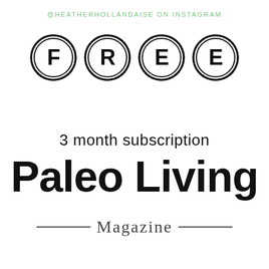@HEATHERHOLLANDAISE ON INSTAGRAM
[Figure (illustration): Four circular stamp-style icons each containing a letter: F, R, E, E — spelling FREE]
3 month subscription
Paleo Living
Magazine